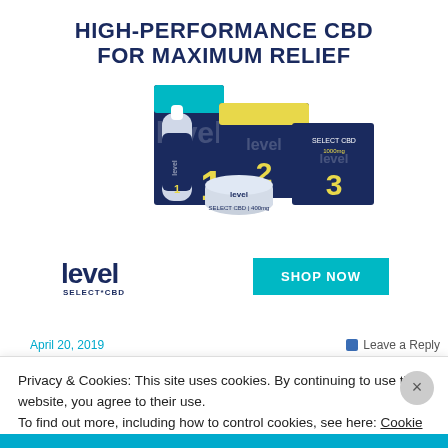HIGH-PERFORMANCE CBD FOR MAXIMUM RELIEF
[Figure (photo): Level Select CBD product lineup showing three products: a roll-on bottle labeled Level 1, a cream jar labeled Level 2, and a box labeled Level Select CBD 1000mg Level 3, arranged together with a large blue number 1 box in the background.]
[Figure (logo): Level Select CBD logo with bold stylized text 'level' and 'SELECT*CBD' below it in dark navy blue.]
SHOP NOW
April 20, 2019
Leave a Reply
Privacy & Cookies: This site uses cookies. By continuing to use this website, you agree to their use.
To find out more, including how to control cookies, see here: Cookie Policy
Close and accept